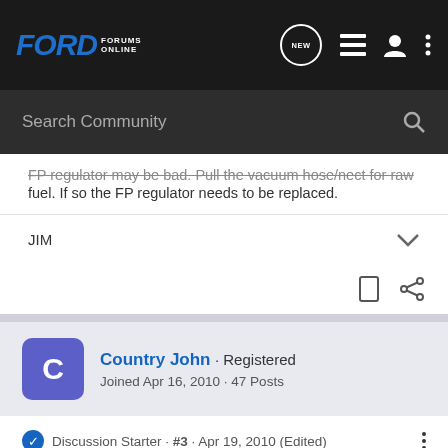Ford Forums Online
Search Community
FP regulator may be bad. Pull the vacuum hose/nect for raw fuel. If so the FP regulator needs to be replaced.
JIM
Country John · Registered
Joined Apr 16, 2010 · 47 Posts
Discussion Starter · #3 · Apr 19, 2010 (Edited)
Cuda_jim said: